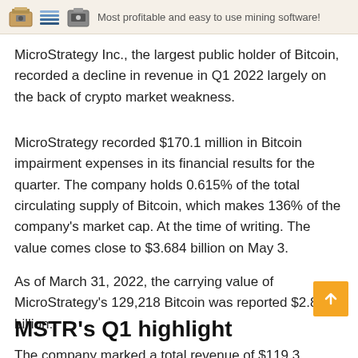[Figure (screenshot): Advertisement banner with cryptocurrency mining hardware icons and text 'Most profitable and easy to use mining software!']
MicroStrategy Inc., the largest public holder of Bitcoin, recorded a decline in revenue in Q1 2022 largely on the back of crypto market weakness.
MicroStrategy recorded $170.1 million in Bitcoin impairment expenses in its financial results for the quarter. The company holds 0.615% of the total circulating supply of Bitcoin, which makes 136% of the company's market cap. At the time of writing. The value comes close to $3.684 billion on May 3.
As of March 31, 2022, the carrying value of MicroStrategy's 129,218 Bitcoin was reported $2.896 billion.
MSTR’s Q1 highlight
The company marked a total revenue of $119.3